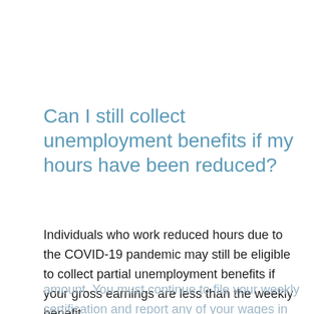Can I still collect unemployment benefits if my hours have been reduced?
Individuals who work reduced hours due to the COVID-19 pandemic may still be eligible to collect partial unemployment benefits if your gross earnings are less than the weekly benefit amount. You must continue to file your weekly certification and report any of your wages in the